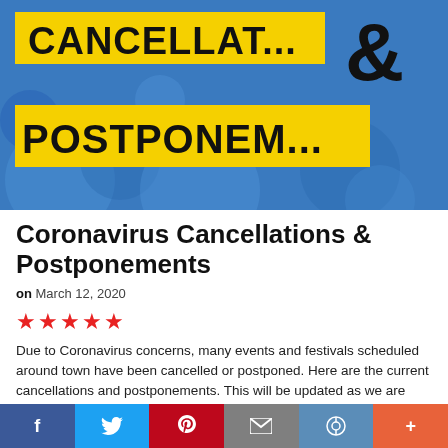[Figure (photo): Hero image showing yellow banner signs with bold black text reading 'CANCELLAT...' and 'POSTPONEM...' with an ampersand symbol, on a blue graffiti-style background.]
Coronavirus Cancellations & Postponements
on March 12, 2020
★★★★★
Due to Coronavirus concerns, many events and festivals scheduled around town have been cancelled or postponed. Here are the current cancellations and postponements. This will be updated as we are made aware of them.... Read full article